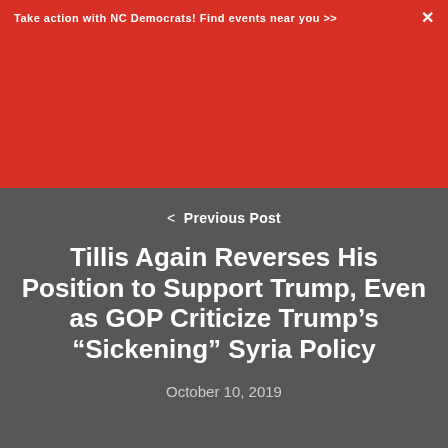Take action with NC Democrats! Find events near you >>
< Previous Post
Tillis Again Reverses His Position to Support Trump, Even as GOP Criticize Trump’s “Sickening” Syria Policy
October 10, 2019